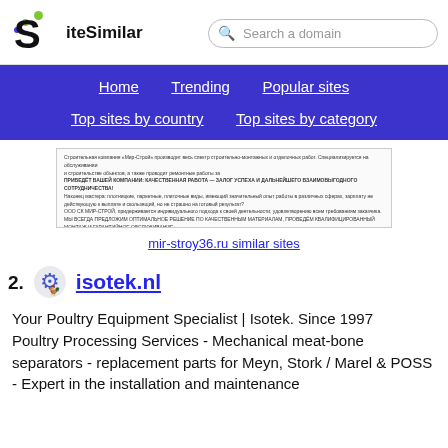SiteSimilar - Search a domain
Home  Trending  Popular sites  Top sites by country  Top sites by category
[Figure (screenshot): Screenshot preview of mir-stroy36.ru website with Russian text about construction company]
mir-stroy36.ru similar sites
2. isotek.nl
Your Poultry Equipment Specialist | Isotek. Since 1997
Poultry Processing Services - Mechanical meat-bone separators - replacement parts for Meyn, Stork / Marel & POSS - Expert in the installation and maintenance